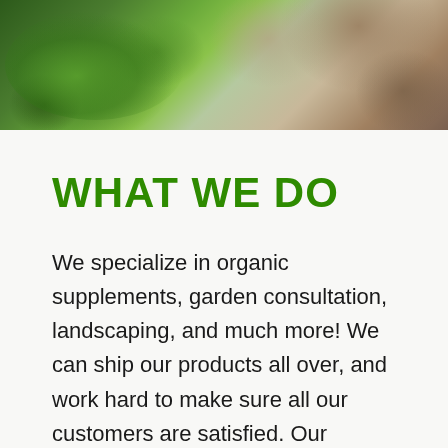[Figure (photo): Close-up photo of green leaves with water droplets on the left, and a person's hands wearing gardening gloves on the right, with dark background]
WHAT WE DO
We specialize in organic supplements, garden consultation, landscaping, and much more! We can ship our products all over, and work hard to make sure all our customers are satisfied. Our workers are courteous and are very knowledgeable. If you are looking for a garden center in